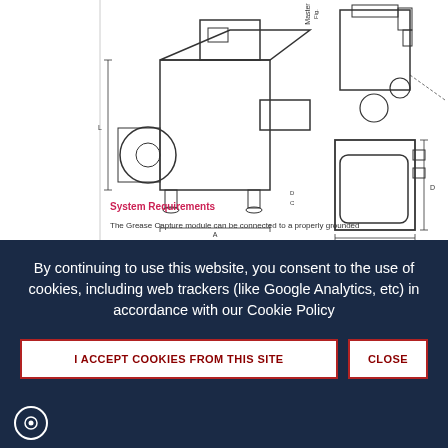[Figure (engineering-diagram): Technical schematic drawing of a Grease Capture system shown in two views: a side/front view on the left showing the unit with fan, housing, and dimensional lines (labeled A, B, C, D, L), and a side view on the right showing the Grease Container Maintenance Space with dimensional lines. Labels include 'Master' text at top and dimension arrows.]
System Requirements
The Grease Capture module can be connected to a properly grounded
By continuing to use this website, you consent to the use of cookies, including web trackers (like Google Analytics, etc) in accordance with our Cookie Policy
I ACCEPT COOKIES FROM THIS SITE
CLOSE